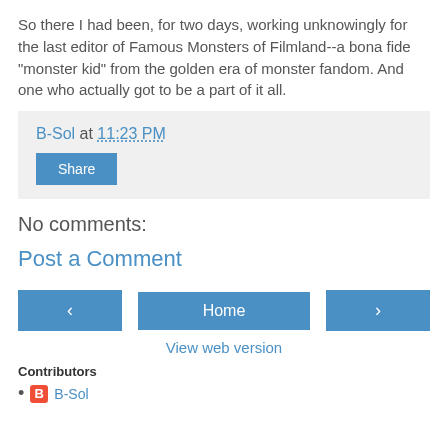So there I had been, for two days, working unknowingly for the last editor of Famous Monsters of Filmland--a bona fide "monster kid" from the golden era of monster fandom. And one who actually got to be a part of it all.
B-Sol at 11:23 PM
Share
No comments:
Post a Comment
< Home >
View web version
Contributors
B-Sol